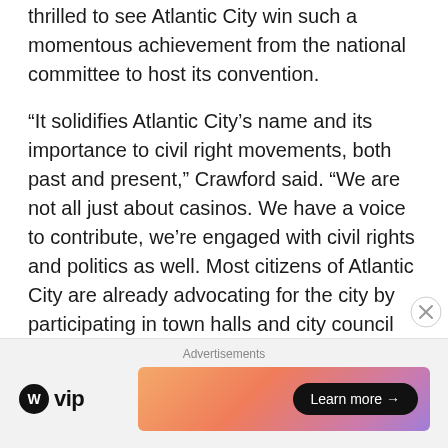thrilled to see Atlantic City win such a momentous achievement from the national committee to host its convention.
“It solidifies Atlantic City’s name and its importance to civil right movements, both past and present,” Crawford said. “We are not all just about casinos. We have a voice to contribute, we’re engaged with civil rights and politics as well. Most citizens of Atlantic City are already advocating for the city by participating in town halls and city council meetings. In those meetings, they share their opinions on what we can do to make our town better for our citizens.”
[Figure (other): Advertisement banner: WordPress VIP logo on the left and a colorful gradient Learn more button on the right]